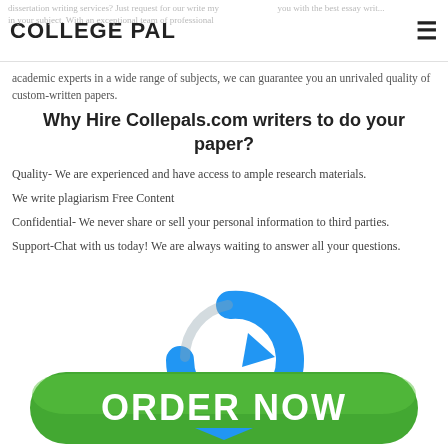COLLEGE PAL
dissertation writing services? Just request for our write my you with the best essay writ... in your subject. With an exceptional team of professional academic experts in a wide range of subjects, we can guarantee you an unrivaled quality of custom-written papers.
Why Hire Collepals.com writers to do your paper?
Quality- We are experienced and have access to ample research materials.
We write plagiarism Free Content
Confidential- We never share or sell your personal information to third parties.
Support-Chat with us today! We are always waiting to answer all your questions.
[Figure (illustration): A green ORDER NOW button with a blue circular arrow icon above it, representing a call-to-action button for ordering writing services.]